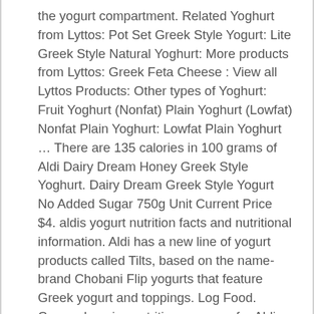the yogurt compartment. Related Yoghurt from Lyttos: Pot Set Greek Style Yogurt: Lite Greek Style Natural Yoghurt: More products from Lyttos: Greek Feta Cheese : View all Lyttos Products: Other types of Yoghurt: Fruit Yoghurt (Nonfat) Plain Yoghurt (Lowfat) Nonfat Plain Yoghurt: Lowfat Plain Yoghurt … There are 135 calories in 100 grams of Aldi Dairy Dream Honey Greek Style Yoghurt. Dairy Dream Greek Style Yogurt No Added Sugar 750g Unit Current Price $4. aldis yogurt nutrition facts and nutritional information. Aldi has a new line of yogurt products called Tilts, based on the name-brand Chobani Flip yogurts that feature Greek yogurt and toppings. Log Food. Comprehensive nutrition resource for Aldi Greek Yogurt. Personalized health review for Simply Nature Whole Milk Yogurt, Organic, plain: 120 calories, nutrition grade (A minus), problematic